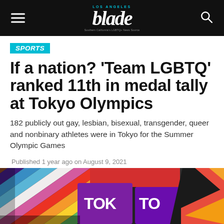Los Angeles Blade
SPORTS
If a nation? ‘Team LGBTQ’ ranked 11th in medal tally at Tokyo Olympics
182 publicly out gay, lesbian, bisexual, transgender, queer and nonbinary athletes were in Tokyo for the Summer Olympic Games
Published 1 year ago on August 9, 2021
By Brody Levesque
[Figure (photo): Pride flag stripes and Tokyo Olympics signage/objects in the lower portion of the image]